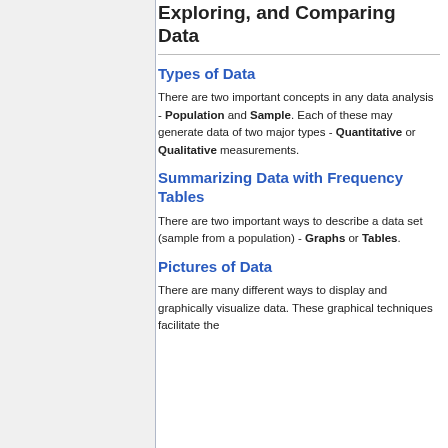Exploring, and Comparing Data
Types of Data
There are two important concepts in any data analysis - Population and Sample. Each of these may generate data of two major types - Quantitative or Qualitative measurements.
Summarizing Data with Frequency Tables
There are two important ways to describe a data set (sample from a population) - Graphs or Tables.
Pictures of Data
There are many different ways to display and graphically visualize data. These graphical techniques facilitate the